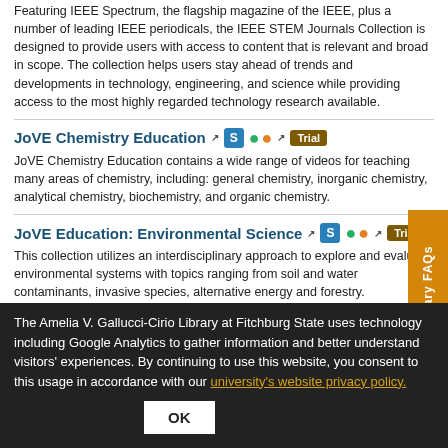Featuring IEEE Spectrum, the flagship magazine of the IEEE, plus a number of leading IEEE periodicals, the IEEE STEM Journals Collection is designed to provide users with access to content that is relevant and broad in scope. The collection helps users stay ahead of trends and developments in technology, engineering, and science while providing access to the most highly regarded technology research available.
JoVE Chemistry Education [Trial]
JoVE Chemistry Education contains a wide range of videos for teaching many areas of chemistry, including: general chemistry, inorganic chemistry, analytical chemistry, biochemistry, and organic chemistry.
JoVE Education: Environmental Science [Trial]
This collection utilizes an interdisciplinary approach to explore and evaluate environmental systems with topics ranging from soil and water contaminants, invasive species, alternative energy and forestry.
JoVE Journal: Biochemistry [Trial]
JoVE educational videos empower effective teaching of science concepts
The Amelia V. Gallucci-Cirio Library at Fitchburg State uses technology including Google Analytics to gather information and better understand visitors' experiences. By continuing to use this website, you consent to this usage in accordance with our university's website privacy policy. OK